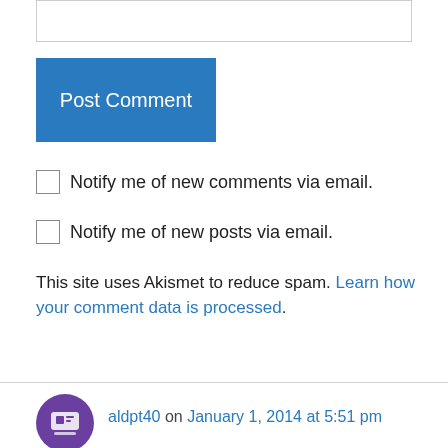[Figure (screenshot): Text input box at top of page]
Post Comment
Notify me of new comments via email.
Notify me of new posts via email.
This site uses Akismet to reduce spam. Learn how your comment data is processed.
aldpt40 on January 1, 2014 at 5:51 pm
Want: Johnny Carson-not personally. ..just by his looks, his behavior, & actions through the years…..
WED: LENO! TRULY FUNNY!!